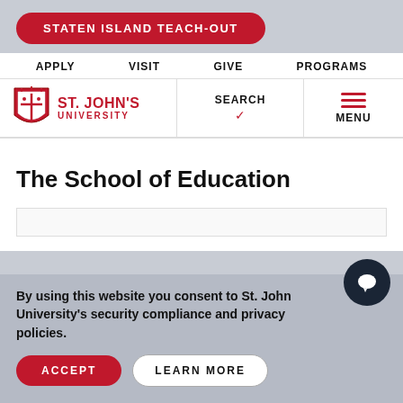STATEN ISLAND TEACH-OUT
APPLY  VISIT  GIVE  PROGRAMS
[Figure (logo): St. John's University shield logo with red crest and text]
SEARCH  MENU
The School of Education
By using this website you consent to St. John University's security compliance and privacy policies.
ACCEPT  LEARN MORE